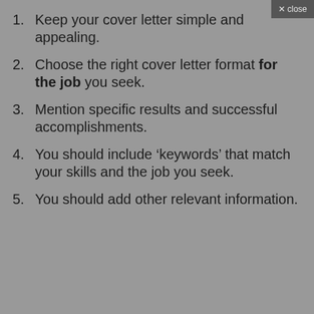1. Keep your cover letter simple and appealing.
2. Choose the right cover letter format for the job you seek.
3. Mention specific results and successful accomplishments.
4. You should include ‘keywords’ that match your skills and the job you seek.
5. You should add other relevant information.